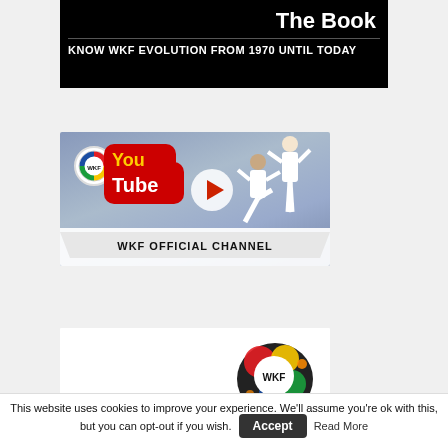[Figure (illustration): Black banner with 'The Book' title and subtitle 'KNOW WKF EVOLUTION FROM 1970 UNTIL TODAY']
[Figure (screenshot): WKF Official YouTube Channel banner with YouTube logo, play button, karate fighters, and 'WKF OFFICIAL CHANNEL' label]
[Figure (illustration): WKF Approved banner with large 'WKF' text and colorful ink-splash WKF logo]
This website uses cookies to improve your experience. We'll assume you're ok with this, but you can opt-out if you wish.  Accept  Read More